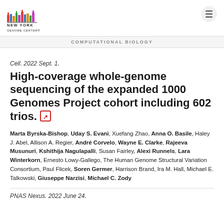NEW YORK GENOME CENTER
COMPUTATIONAL BIOLOGY
Cell. 2022 Sept. 1.
High-coverage whole-genome sequencing of the expanded 1000 Genomes Project cohort including 602 trios.
Marta Byrska-Bishop, Uday S. Evani, Xuefang Zhao, Anna O. Basile, Haley J. Abel, Allison A. Regier, André Corvelo, Wayne E. Clarke, Rajeeva Musunuri, Kshithija Nagulapalli, Susan Fairley, Alexi Runnels, Lara Winterkorn, Ernesto Lowy-Gallego, The Human Genome Structural Variation Consortium, Paul Flicek, Soren Germer, Harrison Brand, Ira M. Hall, Michael E. Talkowski, Giuseppe Narzisi, Michael C. Zody
PNAS Nexus. 2022 June 24.